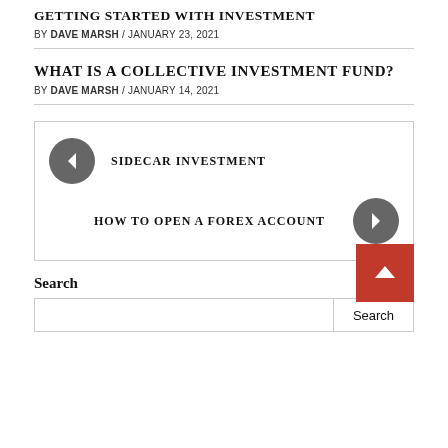GETTING STARTED WITH INVESTMENT
BY DAVE MARSH / JANUARY 23, 2021
WHAT IS A COLLECTIVE INVESTMENT FUND?
BY DAVE MARSH / JANUARY 14, 2021
[Figure (other): Navigation box with back arrow linking to SIDECAR INVESTMENT and forward arrow linking to HOW TO OPEN A FOREX ACCOUNT]
Search
[Figure (other): Search input box with Search button and red back-to-top arrow button]